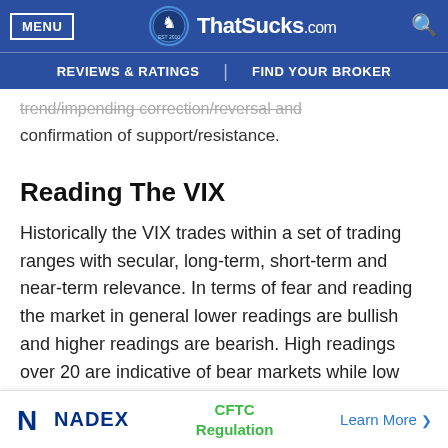MENU | ThatSucks.com | REVIEWS & RATINGS | FIND YOUR BROKER
trend/impending correction/reversal and confirmation of support/resistance.
Reading The VIX
Historically the VIX trades within a set of trading ranges with secular, long-term, short-term and near-term relevance. In terms of fear and reading the market in general lower readings are bullish and higher readings are bearish. High readings over 20 are indicative of bear markets while low
NADEX | CFTC Regulation | Learn More >